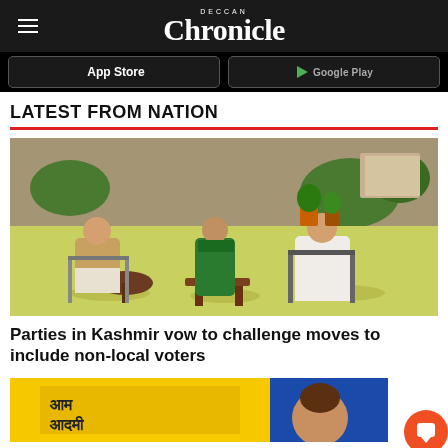Deccan Chronicle
[Figure (screenshot): App Store and Google Play download buttons on black background]
LATEST FROM NATION
[Figure (photo): Three people seated outdoors on chairs in a garden/lawn setting. Man in tan jacket on left, woman in green outfit in center, man in white clothes on right. Stone wall and trees in background.]
Parties in Kashmir vow to challenge moves to include non-local voters
[Figure (screenshot): Partial image at bottom showing what appears to be an Aam Aadmi Party event or billboard with Hindi text]